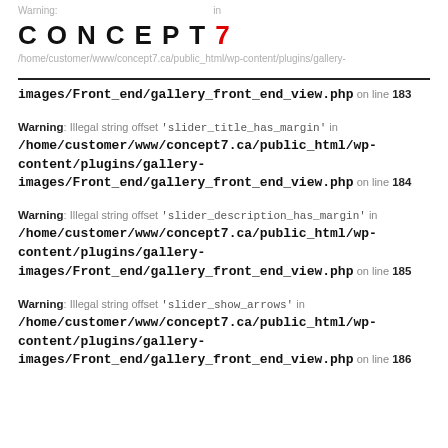[Figure (logo): CONCEPT7 logo with red 7, overlaid on faded warning text and partial path text]
images/Front_end/gallery_front_end_view.php on line 183
Warning: Illegal string offset 'slider_title_has_margin' in /home/customer/www/concept7.ca/public_html/wp-content/plugins/gallery-images/Front_end/gallery_front_end_view.php on line 184
Warning: Illegal string offset 'slider_description_has_margin' in /home/customer/www/concept7.ca/public_html/wp-content/plugins/gallery-images/Front_end/gallery_front_end_view.php on line 185
Warning: Illegal string offset 'slider_show_arrows' in /home/customer/www/concept7.ca/public_html/wp-content/plugins/gallery-images/Front_end/gallery_front_end_view.php on line 186